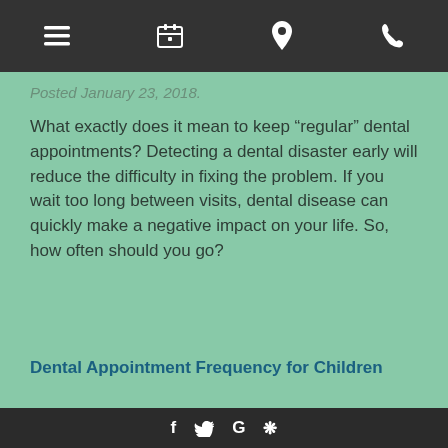[navigation bar with menu, calendar, location, phone icons]
Posted January 23, 2018.
What exactly does it mean to keep “regular” dental appointments? Detecting a dental disaster early will reduce the difficulty in fixing the problem. If you wait too long between visits, dental disease can quickly make a negative impact on your life. So, how often should you go?
Dental Appointment Frequency for Children
f  🐦  G  ✻